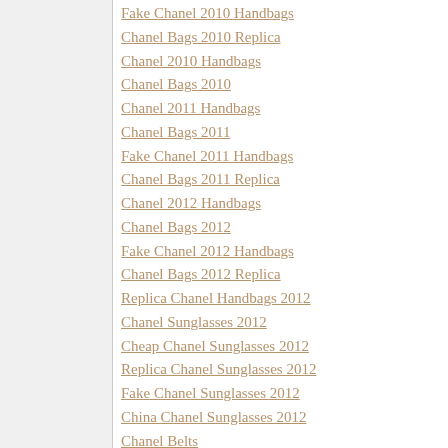Fake Chanel 2010 Handbags
Chanel Bags 2010 Replica
Chanel 2010 Handbags
Chanel Bags 2010
Chanel 2011 Handbags
Chanel Bags 2011
Fake Chanel 2011 Handbags
Chanel Bags 2011 Replica
Chanel 2012 Handbags
Chanel Bags 2012
Fake Chanel 2012 Handbags
Chanel Bags 2012 Replica
Replica Chanel Handbags 2012
Chanel Sunglasses 2012
Cheap Chanel Sunglasses 2012
Replica Chanel Sunglasses 2012
Fake Chanel Sunglasses 2012
China Chanel Sunglasses 2012
Chanel Belts
Chanel Belts 2012
Discount Chanel Belts
Cheap Chanel Belts
Replica Chanel Belts